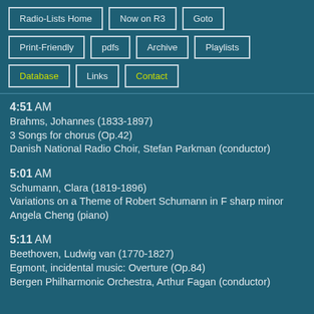Radio-Lists Home
Now on R3
Goto
Print-Friendly
pdfs
Archive
Playlists
Database
Links
Contact
4:51 AM
Brahms, Johannes (1833-1897)
3 Songs for chorus (Op.42)
Danish National Radio Choir, Stefan Parkman (conductor)
5:01 AM
Schumann, Clara (1819-1896)
Variations on a Theme of Robert Schumann in F sharp minor
Angela Cheng (piano)
5:11 AM
Beethoven, Ludwig van (1770-1827)
Egmont, incidental music: Overture (Op.84)
Bergen Philharmonic Orchestra, Arthur Fagan (conductor)